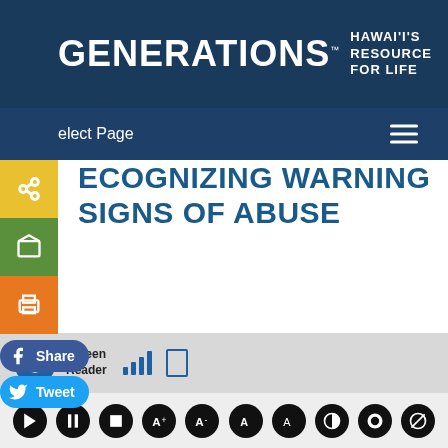[Figure (logo): Generations - Hawaii's Resource for Life logo in white text on dark blue background]
Select Page
[Figure (screenshot): Yellow share button, green email button, orange print button on left side]
[Figure (screenshot): Facebook Share and Twitter Tweet social share buttons]
RECOGNIZING WARNING SIGNS OF ABUSE
Scott Spallina, Senior Deputy Prosecuting Attorney | Dec 1, 2014 | Articles, December - January 2015, Wisdoms | 0 comments
[Figure (screenshot): Screen Reader accessibility toolbar with audio controls and text size buttons]